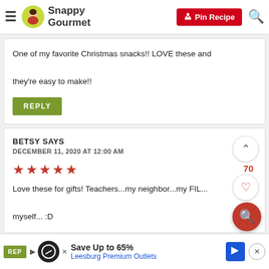Snappy Gourmet | Pin Recipe
One of my favorite Christmas snacks!! LOVE these and they're easy to make!!
REPLY
BETSY SAYS
DECEMBER 11, 2020 AT 12:00 AM
★★★★★
Love these for gifts! Teachers...my neighbor...my FIL... myself... :D
Save Up to 65% Leesburg Premium Outlets